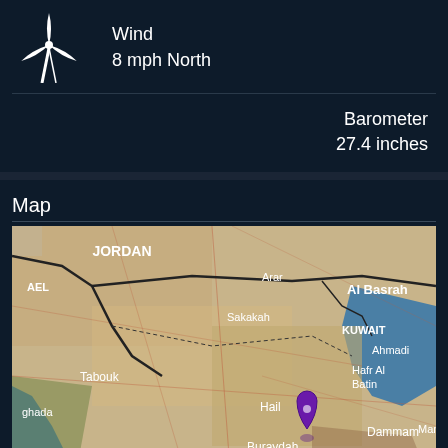[Figure (illustration): Wind turbine icon (white, three blades)]
Wind
8 mph North
Barometer
27.4 inches
Map
[Figure (map): Satellite map of Saudi Arabia and surrounding region showing Jordan, Kuwait, Buraydah (with purple pin), Hail, Riyadh, Madinah, Dammam, Al Basrah, and other cities. Satellite layer label visible in bottom-left corner.]